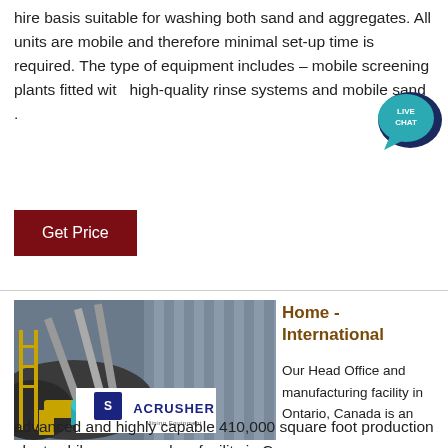hire basis suitable for washing both sand and aggregates. All units are mobile and therefore minimal set-up time is required. The type of equipment includes – mobile screening plants fitted with high-quality rinse systems and mobile sand .
[Figure (infographic): Live Chat speech bubble icon in teal/dark blue colors with text LIVE CHAT]
Get Price
[Figure (photo): Industrial mining/crushing facility with conveyor belts and large processing equipment. ACRUSHER Mining Equipment logo overlay in bottom center.]
Home - International
Our Head Office and manufacturing facility in Ontario, Canada is an advanced and highly capable 410,000 square foot production plant, while our secondary facility in Co